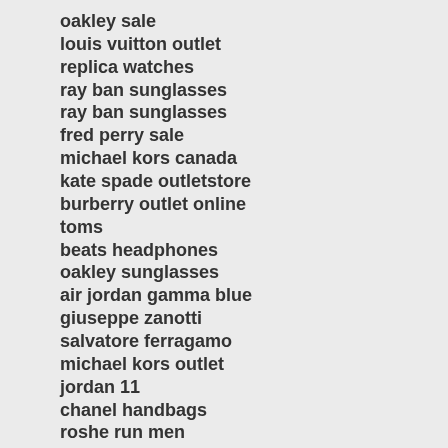oakley sale
louis vuitton outlet
replica watches
ray ban sunglasses
ray ban sunglasses
fred perry sale
michael kors canada
kate spade outletstore
burberry outlet online
toms
beats headphones
oakley sunglasses
air jordan gamma blue
giuseppe zanotti
salvatore ferragamo
michael kors outlet
jordan 11
chanel handbags
roshe run men
cheap ray ban sunglasses
tiffany and co
air jordan concord